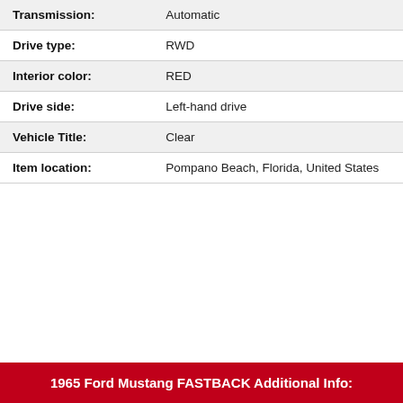| Transmission: | Automatic |
| Drive type: | RWD |
| Interior color: | RED |
| Drive side: | Left-hand drive |
| Vehicle Title: | Clear |
| Item location: | Pompano Beach, Florida, United States |
1965 Ford Mustang FASTBACK Additional Info: